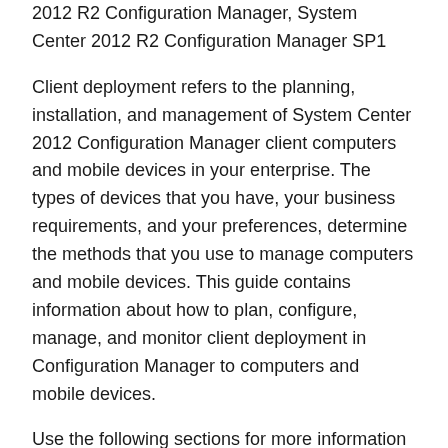2012 R2 Configuration Manager, System Center 2012 R2 Configuration Manager SP1
Client deployment refers to the planning, installation, and management of System Center 2012 Configuration Manager client computers and mobile devices in your enterprise. The types of devices that you have, your business requirements, and your preferences, determine the methods that you use to manage computers and mobile devices. This guide contains information about how to plan, configure, manage, and monitor client deployment in Configuration Manager to computers and mobile devices.
Use the following sections for more information about how to deploy and monitor client deployment for computers and mobile devices: